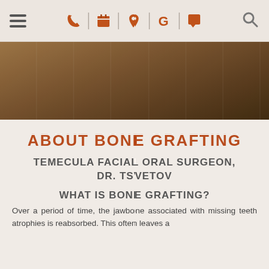Navigation bar with hamburger menu, phone, calendar, location, Google, chat icons, and search icon
[Figure (photo): Interior of a dental/medical office waiting room, shown with warm brownish overlay tint]
ABOUT BONE GRAFTING
TEMECULA FACIAL ORAL SURGEON, DR. TSVETOV
WHAT IS BONE GRAFTING?
Over a period of time, the jawbone associated with missing teeth atrophies is reabsorbed. This often leaves a